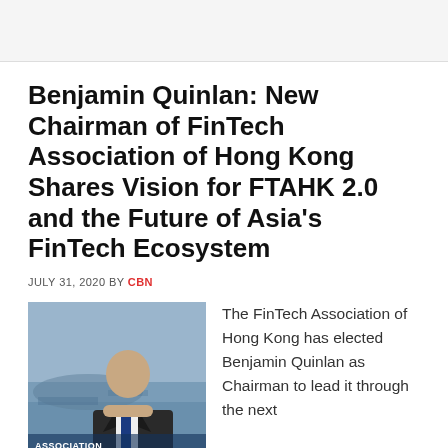Benjamin Quinlan: New Chairman of FinTech Association of Hong Kong Shares Vision for FTAHK 2.0 and the Future of Asia's FinTech Ecosystem
JULY 31, 2020 BY CBN
[Figure (photo): Photo of Benjamin Quinlan, new Chairman of FinTech Association of Hong Kong, with overlay text showing association name and his name]
The FinTech Association of Hong Kong has elected Benjamin Quinlan as Chairman to lead it through the next